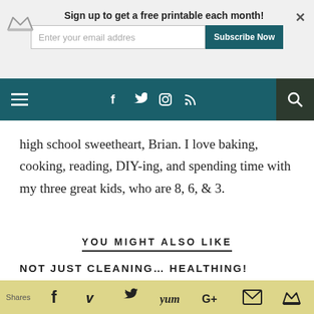Sign up to get a free printable each month! [email input] Subscribe Now
[Figure (screenshot): Navigation bar with hamburger menu, social icons (Facebook, Twitter, Instagram, RSS), and search icon on teal background]
high school sweetheart, Brian. I love baking, cooking, reading, DIY-ing, and spending time with my three great kids, who are 8, 6, & 3.
YOU MIGHT ALSO LIKE
NOT JUST CLEANING… HEALTHING! LYSOL'S NEW INITIATIVE
APRIL 2, 2013
Shares [Facebook] [Pinterest] [Twitter] [Yum] [G+] [Email] [Crown]